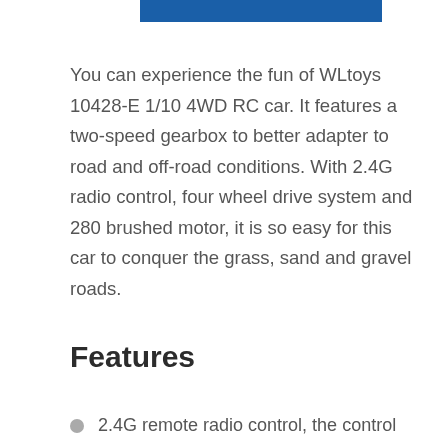[Figure (other): Blue rectangular button/banner at the top of the page]
You can experience the fun of WLtoys 10428-E 1/10 4WD RC car. It features a two-speed gearbox to better adapter to road and off-road conditions. With 2.4G radio control, four wheel drive system and 280 brushed motor, it is so easy for this car to conquer the grass, sand and gravel roads.
Features
2.4G remote radio control, the control